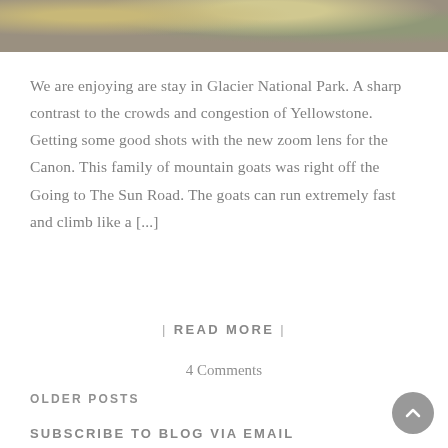[Figure (photo): Partial photo of mountain goats at Glacier National Park, showing animal fur and green grass background, cropped at top of page]
We are enjoying are stay in Glacier National Park. A sharp contrast to the crowds and congestion of Yellowstone. Getting some good shots with the new zoom lens for the Canon. This family of mountain goats was right off the Going to The Sun Road. The goats can run extremely fast and climb like a [...]
| READ MORE |
4 Comments
OLDER POSTS
SUBSCRIBE TO BLOG VIA EMAIL